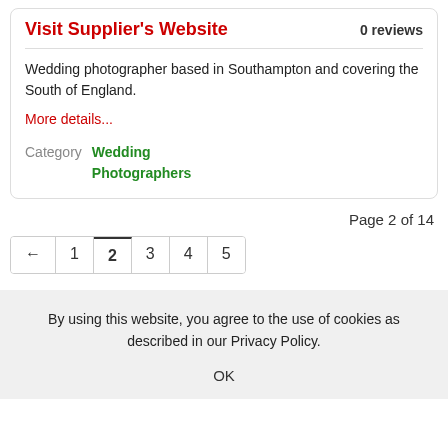Visit Supplier's Website
0 reviews
Wedding photographer based in Southampton and covering the South of England.
More details...
Category   Wedding Photographers
Page 2 of 14
← 1 2 3 4 5
By using this website, you agree to the use of cookies as described in our Privacy Policy.
OK